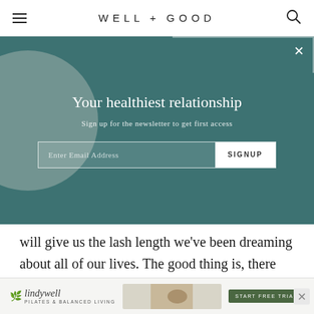WELL+GOOD
[Figure (screenshot): Newsletter signup modal with teal background, decorative circle and swirl, title 'Your healthiest relationship', subtitle 'Sign up for the newsletter to get first access', email input field and SIGNUP button, close X button]
will give us the lash length we've been dreaming about all of our lives. The good thing is, there isn't just one mascara out there to help anyone lacking in the lash department. In fact, there are tons—it's all a matter of what to look out for when shopping for the best mascaras for short lashes.
[Figure (screenshot): Lindywell advertisement banner — Pilates & Balanced Living with START FREE TRIAL button and close X]